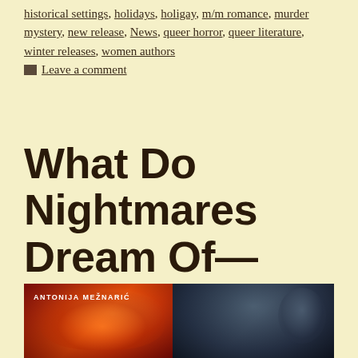historical settings, holidays, holigay, m/m romance, murder mystery, new release, News, queer horror, queer literature, winter releases, women authors
Leave a comment
What Do Nightmares Dream Of—going live!
[Figure (photo): Two book covers side by side: left cover shows abstract red/orange swirling imagery with author name ANTONIJA MEŽNARIĆ in white text; right cover shows a dark moody portrait of a person with curly hair in blue-grey tones.]